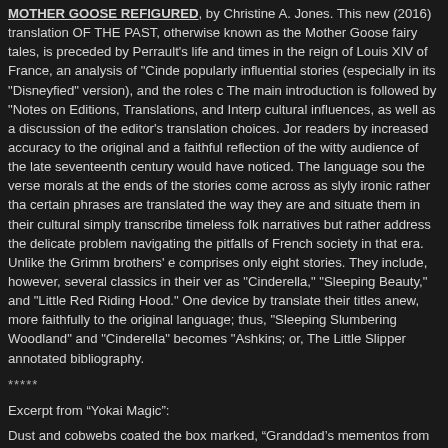MOTHER GOOSE REFIGURED, by Christine A. Jones. This new (2016) translation OF THE PAST, otherwise known as the Mother Goose fairy tales, is preceded by Perrault's life and times in the reign of Louis XIV of France, an analysis of "Cinde popularly influential stories (especially in its "Disneyfied" version), and the roles c The main introduction is followed by "Notes on Editions, Translations, and Interp cultural influences, as well as a discussion of the editor's translation choices. Jor readers by increased accuracy to the original and a faithful reflection of the witty audience of the late seventeenth century would have noticed. The language sou the verse morals at the ends of the stories come across as slyly ironic rather tha certain phrases are translated the way they are and situate them in their cultural simply transcribe timeless folk narratives but rather address the delicate problem navigating the pitfalls of French society in that era. Unlike the Grimm brothers' er comprises only eight stories. They include, however, several classics in their ver as "Cinderella," "Sleeping Beauty," and "Little Red Riding Hood." One device by translate their titles anew, more faithfully to the original language; thus, "Sleeping Slumbering Woodland" and "Cinderella" becomes "Ashkins; or, The Little Slipper annotated bibliography.
*****
Excerpt from “Yokai Magic”:
Dust and cobwebs coated the box marked, “Granddad’s mementos from Korea.” mess with a broom before lifting the box down. It had probably sat undisturbed o bought the house, when she’d been twelve years old. She lugged her find upstai kitchen table. Her cat leaped onto the chair next to hers and stared as if supervis crumbling tape that barely sealed the box top.
After pulling out handfuls of wadded-up packing paper, she came upon a pile of l address. A separately bound bundle of envelopes looked like her grandmother’s start reading them on the spot. If what she needed wasn’t loose in the box, she v another nest of paper, she dug out a porcelain figurine of a white, green-eyed Ja around its neck. She set the statuette on the table. The next layer in the box reve wrap.